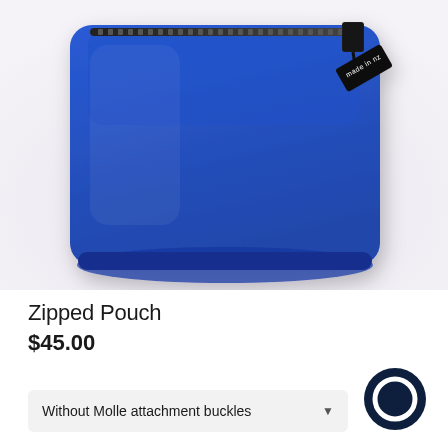[Figure (photo): A royal blue zipped pouch/small bag with a black zipper and a small black label tag reading 'made in nz'. The pouch is square-shaped and puffy, photographed on a light lavender-white background.]
Zipped Pouch
$45.00
Without Molle attachment buckles